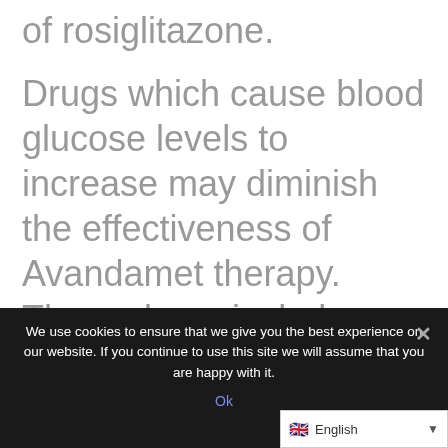of rosiglitazone.
Drugs which cause blood glucose levels to increase may diminish the effectiveness of Avandamet therapy. These drugs include
thiazides,
other diuretics,
corticosteroids,
We use cookies to ensure that we give you the best experience on our website. If you continue to use this site we will assume that you are happy with it.
Ok
English